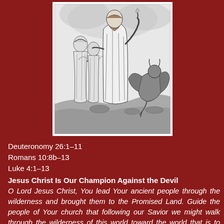[Figure (illustration): Black and white engraving showing Jesus Christ standing in the center with arm raised, flanked by angelic figures on the left and a crouching devil figure on the right, in a wilderness setting.]
Deuteronomy 26:1–11
Romans 10:8b–13
Luke 4:1–13
Jesus Christ Is Our Champion Against the Devil
O Lord Jesus Christ, You lead Your ancient people through the wilderness and brought them to the Promised Land. Guide the people of Your church that following our Savior we might walk through the wilderness of this world toward the world that is to come; through Jesus Christ our Lord, who